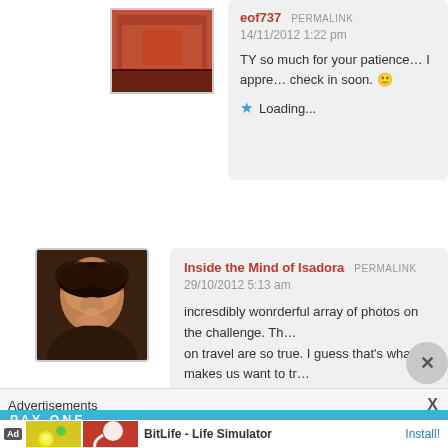[Figure (photo): Small avatar thumbnail showing a red/orange building facade with text]
eof737  PERMALINK
14/11/2012 1:22 pm
TY so much for your patience… I appre… check in soon. 🙂
★ Loading...
[Figure (photo): Avatar photo of a woman with curly hair, smiling]
Inside the Mind of Isadora  PERMALINK
29/10/2012 5:13 am
incresdibly wonrderful array of photos on the challenge. Th… on travel are so true. I guess that's what makes us want to tr… lands. Great …
★ Loading...
Advertisements  X
[Figure (screenshot): BitLife Life Simulator advertisement banner with ad icon, yellow emoji graphic, red sperm graphic, title and Install button]